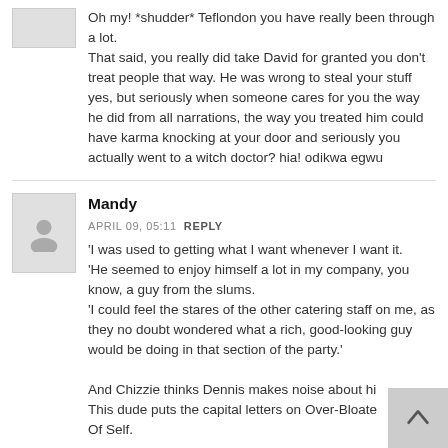Oh my! *shudder* Teflondon you have really been through a lot.
That said, you really did take David for granted you don't treat people that way. He was wrong to steal your stuff yes, but seriously when someone cares for you the way he did from all narrations, the way you treated him could have karma knocking at your door and seriously you actually went to a witch doctor? hia! odikwa egwu
Mandy
APRIL 09, 05:11  REPLY
'I was used to getting what I want whenever I want it.
'He seemed to enjoy himself a lot in my company, you know, a guy from the slums.
'I could feel the stares of the other catering staff on me, as they no doubt wondered what a rich, good-looking guy would be doing in that section of the party.'

And Chizzie thinks Dennis makes noise about hi...
This dude puts the capital letters on Over-Bloate...
Of Self.